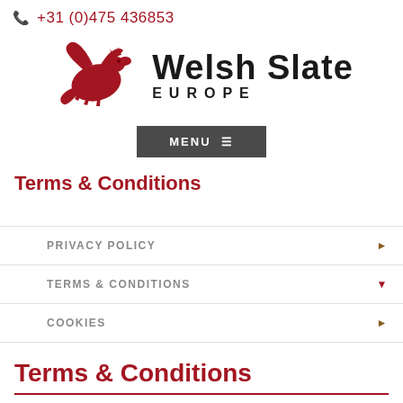+31 (0)475 436853
[Figure (logo): Welsh Slate Europe logo with red Welsh dragon and bold text 'Welsh Slate' with 'EUROPE' below]
MENU
Terms & Conditions
PRIVACY POLICY
TERMS & CONDITIONS
COOKIES
Terms & Conditions